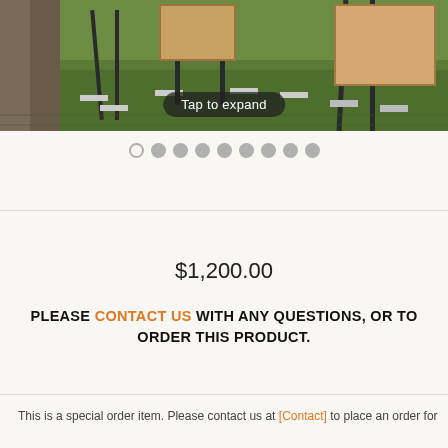[Figure (photo): Outdoor photo showing a shooting target stand system set up on grass. Metal frame stands with wooden/plywood panels visible. A person partially visible on the left edge.]
Tap to expand
[Figure (other): Image carousel dots: one outlined dot followed by 8 filled gray dots]
$1,200.00
PLEASE CONTACT US WITH ANY QUESTIONS, OR TO ORDER THIS PRODUCT.
This is a special order item. Please contact us at [link] to place an order for